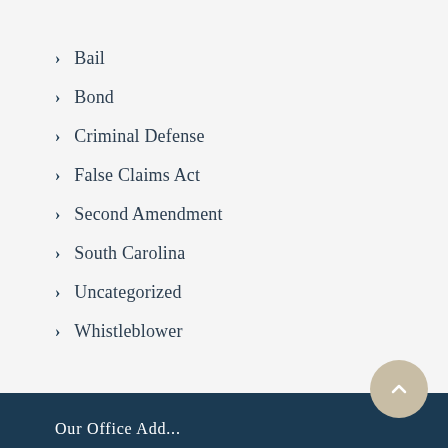Bail
Bond
Criminal Defense
False Claims Act
Second Amendment
South Carolina
Uncategorized
Whistleblower
Our Office Add...